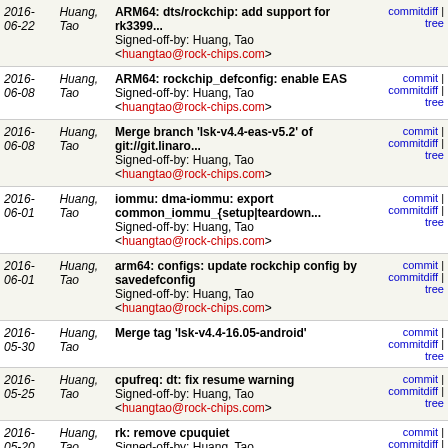| Date | Author | Commit message | Links |
| --- | --- | --- | --- |
| 2016-06-22 | Huang, Tao | ARM64: dts/rockchip: add support for rk3399...
Signed-off-by: Huang, Tao <huangtao@rock-chips.com> | commit | commitdiff | tree |
| 2016-06-08 | Huang, Tao | ARM64: rockchip_defconfig: enable EAS
Signed-off-by: Huang, Tao <huangtao@rock-chips.com> | commit | commitdiff | tree |
| 2016-06-08 | Huang, Tao | Merge branch 'lsk-v4.4-eas-v5.2' of git://git.linaro...
Signed-off-by: Huang, Tao <huangtao@rock-chips.com> | commit | commitdiff | tree |
| 2016-06-01 | Huang, Tao | iommu: dma-iommu: export common_iommu_{setup|teardown...
Signed-off-by: Huang, Tao <huangtao@rock-chips.com> | commit | commitdiff | tree |
| 2016-06-01 | Huang, Tao | arm64: configs: update rockchip config by savedefconfig
Signed-off-by: Huang, Tao <huangtao@rock-chips.com> | commit | commitdiff | tree |
| 2016-05-30 | Huang, Tao | Merge tag 'lsk-v4.4-16.05-android' | commit | commitdiff | tree |
| 2016-05-25 | Huang, Tao | cpufreq: dt: fix resume warning
Signed-off-by: Huang, Tao <huangtao@rock-chips.com> | commit | commitdiff | tree |
| 2016-05-20 | Huang, Tao | rk: remove cpuquiet
Signed-off-by: Huang, Tao <huangtao@rock-chips.com> | commit | commitdiff | tree |
| 2016-... | Huang, ... | rk: force_enable_cam_gate_on_android | commit |